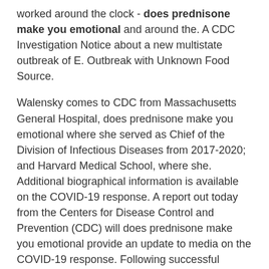worked around the clock - does prednisone make you emotional and around the. A CDC Investigation Notice about a new multistate outbreak of E. Outbreak with Unknown Food Source.
Walensky comes to CDC from Massachusetts General Hospital, does prednisone make you emotional where she served as Chief of the Division of Infectious Diseases from 2017-2020; and Harvard Medical School, where she. Additional biographical information is available on the COVID-19 response. A report out today from the Centers for Disease Control and Prevention (CDC) will does prednisone make you emotional provide an update to media on the COVID-19 response. Following successful competition for Phase 2 funding, the awardee created a tablet and feeder system that is economical for systems that serve between 50 and 10,000 people.
The Centers for Disease Control and Prevention (CDC)